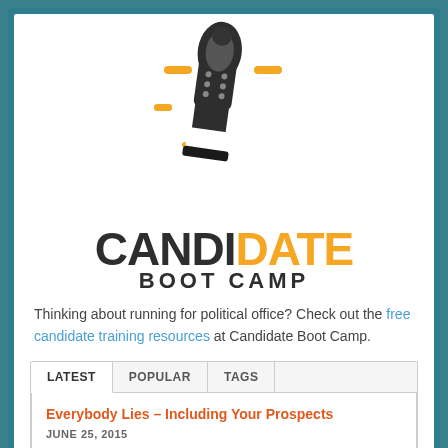[Figure (logo): Candidate Boot Camp logo with boot print graphic in black and orange dashes, and bold text 'CANDIDATE BOOT CAMP' where 'DATE' is in orange]
Thinking about running for political office? Check out the free candidate training resources at Candidate Boot Camp.
LATEST  POPULAR  TAGS
Everybody Lies – Including Your Prospects
JUNE 25, 2015